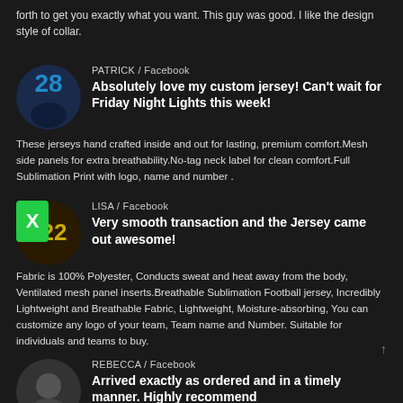forth to get you exactly what you want. This guy was good. I like the design style of collar.
PATRICK / Facebook
Absolutely love my custom jersey! Can't wait for Friday Night Lights this week!
These jerseys hand crafted inside and out for lasting, premium comfort.Mesh side panels for extra breathability.No-tag neck label for clean comfort.Full Sublimation Print with logo, name and number .
LISA / Facebook
Very smooth transaction and the Jersey came out awesome!
Fabric is 100% Polyester, Conducts sweat and heat away from the body, Ventilated mesh panel inserts.Breathable Sublimation Football jersey, Incredibly Lightweight and Breathable Fabric, Lightweight, Moisture-absorbing, You can customize any logo of your team, Team name and Number. Suitable for individuals and teams to buy.
REBECCA / Facebook
Arrived exactly as ordered and in a timely manner. Highly recommend